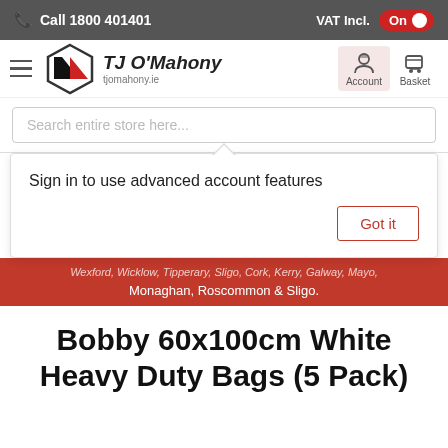Call 1800 401401 | VAT Incl. On
[Figure (logo): TJ O'Mahony logo with hexagon shape and brand name]
Search entire store here...
Sign in to use advanced account features
Got it
Monaghan, Roscommon & Sligo.
Bobby 60x100cm White Heavy Duty Bags (5 Pack)